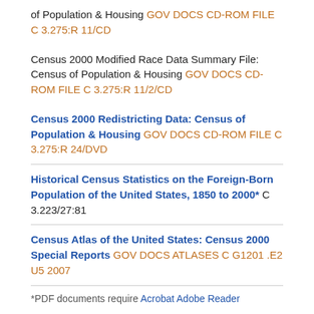of Population & Housing GOV DOCS CD-ROM FILE C 3.275:R 11/CD
Census 2000 Modified Race Data Summary File: Census of Population & Housing GOV DOCS CD-ROM FILE C 3.275:R 11/2/CD
Census 2000 Redistricting Data: Census of Population & Housing GOV DOCS CD-ROM FILE C 3.275:R 24/DVD
Historical Census Statistics on the Foreign-Born Population of the United States, 1850 to 2000* C 3.223/27:81
Census Atlas of the United States: Census 2000 Special Reports GOV DOCS ATLASES C G1201 .E2 U5 2007
*PDF documents require Acrobat Adobe Reader